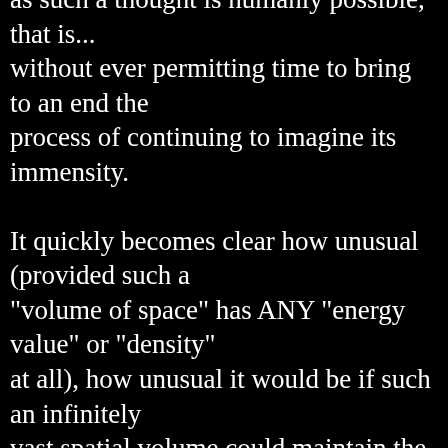as such a thought is humanly possible, that is... without ever permitting time to bring to an end the process of continuing to imagine its immensity.

It quickly becomes clear how unusual (provided such a "volume of space" has ANY "energy value" or "density" at all), how unusual it would be if such an infinitely vast spatial volume could maintain the same identical "density" or "energy value" across the entirety of its unlimited [not to mention: eternally